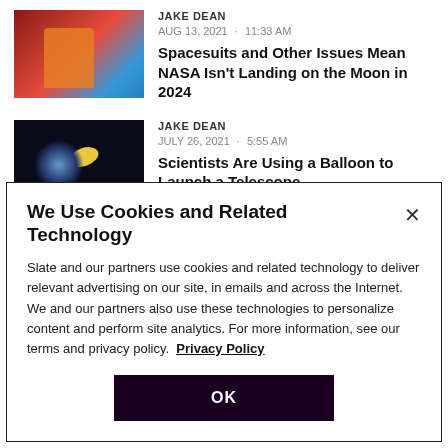[Figure (photo): Thumbnail of person in orange spacesuit in front of American flag]
JAKE DEAN
AUG 13, 2021 · 11:33 AM
Spacesuits and Other Issues Mean NASA Isn't Landing on the Moon in 2024
[Figure (photo): Thumbnail of galaxy/space image with bright light]
JAKE DEAN
JULY 26, 2021 · 5:55 AM
Scientists Are Using a Balloon to Launch a Telescope
[Figure (photo): Partial thumbnail of third article]
MATTHEW DESSEM
We Use Cookies and Related Technology
Slate and our partners use cookies and related technology to deliver relevant advertising on our site, in emails and across the Internet. We and our partners also use these technologies to personalize content and perform site analytics. For more information, see our terms and privacy policy. Privacy Policy